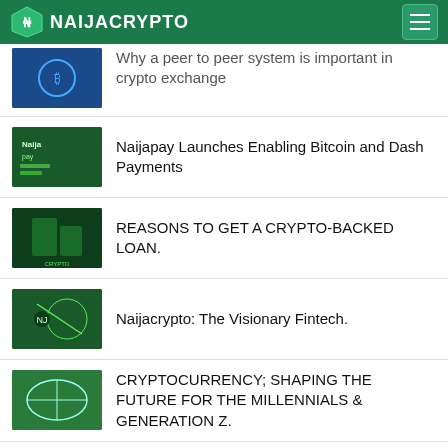NAIJACRYPTO
Why a peer to peer system is important in crypto exchange
Naijapay Launches Enabling Bitcoin and Dash Payments
REASONS TO GET A CRYPTO-BACKED LOAN.
Naijacrypto: The Visionary Fintech.
CRYPTOCURRENCY; SHAPING THE FUTURE FOR THE MILLENNIALS & GENERATION Z.
5 THINGS TO CONSIDER BEFORE TRADING CRYPTO
Other uses of Blockchain other than Cryptocurrency